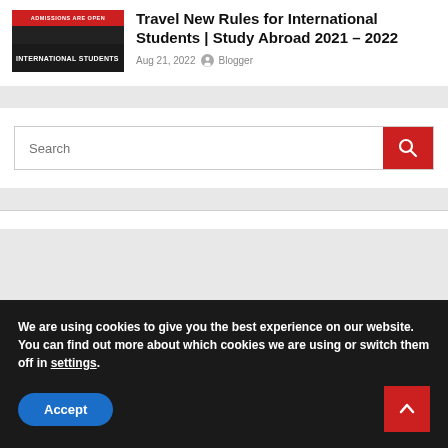[Figure (photo): Thumbnail image with red top bar reading 'ADMISSIONS ARE OPEN' and dark bottom bar reading 'INTERNATIONAL STUDENTS']
Travel New Rules for International Students | Study Abroad 2021 – 2022
Aug 21, 2022  Blogger
Search
We are using cookies to give you the best experience on our website.
You can find out more about which cookies we are using or switch them off in settings.
Accept